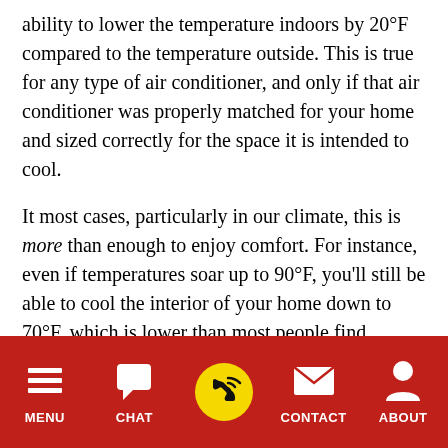ability to lower the temperature indoors by 20°F compared to the temperature outside. This is true for any type of air conditioner, and only if that air conditioner was properly matched for your home and sized correctly for the space it is intended to cool.
It most cases, particularly in our climate, this is more than enough to enjoy comfort. For instance, even if temperatures soar up to 90°F, you'll still be able to cool the interior of your home down to 70°F, which is lower than most people find comfortable anyway. The insulation of your home plays a role in this too. Most people think about insulation keeping heat inside during the winter, but what it does is restricts heat transfer in or out, so it can keep the warm outdoor temperature outside
[Figure (other): Bottom navigation bar with red background containing five items: MENU (hamburger icon), CHAT (speech bubble icon), phone icon (yellow circle with phone handset), CONTACT (envelope icon), ABOUT (person/user icon)]